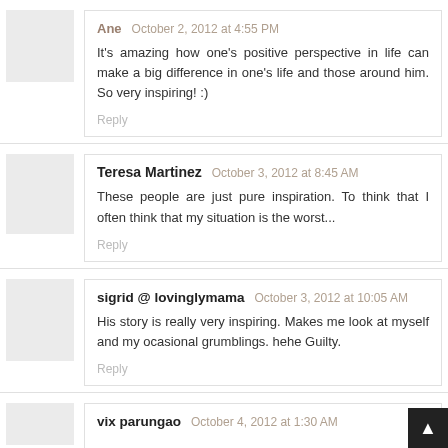Ane  October 2, 2012 at 4:55 PM
It's amazing how one's positive perspective in life can make a big difference in one's life and those around him. So very inspiring! :)
Reply
Teresa Martinez  October 3, 2012 at 8:45 AM
These people are just pure inspiration. To think that I often think that my situation is the worst...
Reply
sigrid @ lovinglymama  October 3, 2012 at 10:05 AM
His story is really very inspiring. Makes me look at myself and my ocasional grumblings. hehe Guilty.
Reply
vix parungao  October 4, 2012 at 1:30 AM